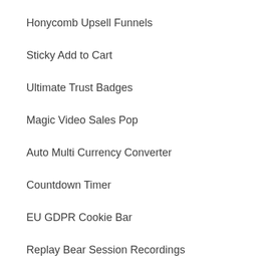Honycomb Upsell Funnels
Sticky Add to Cart
Ultimate Trust Badges
Magic Video Sales Pop
Auto Multi Currency Converter
Countdown Timer
EU GDPR Cookie Bar
Replay Bear Session Recordings